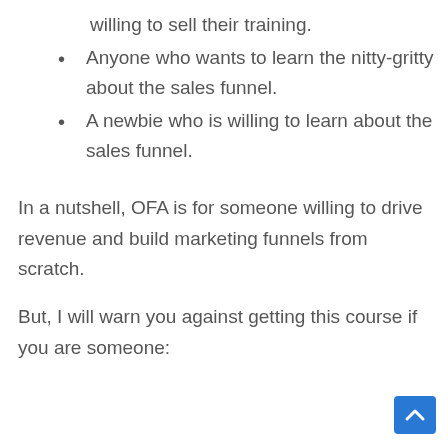willing to sell their training.
Anyone who wants to learn the nitty-gritty about the sales funnel.
A newbie who is willing to learn about the sales funnel.
In a nutshell, OFA is for someone willing to drive revenue and build marketing funnels from scratch.
But, I will warn you against getting this course if you are someone: